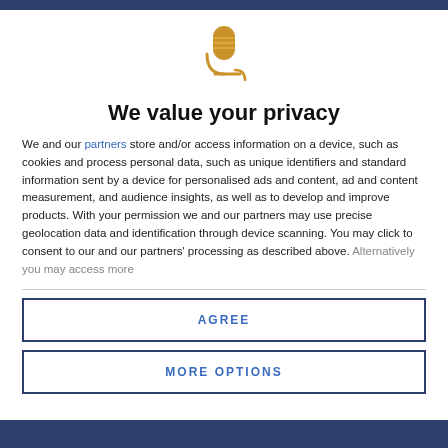[Figure (illustration): Golden microphone icon with a cable/stand, centered at top of privacy consent dialog]
We value your privacy
We and our partners store and/or access information on a device, such as cookies and process personal data, such as unique identifiers and standard information sent by a device for personalised ads and content, ad and content measurement, and audience insights, as well as to develop and improve products. With your permission we and our partners may use precise geolocation data and identification through device scanning. You may click to consent to our and our partners' processing as described above. Alternatively you may access more
AGREE
MORE OPTIONS